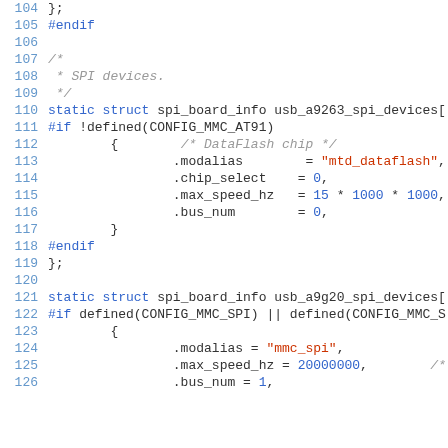Source code listing lines 104-126, C code for SPI board configuration
[Figure (screenshot): C source code showing spi_board_info structures for USB A9263 and A9G20 SPI devices with preprocessor directives and field initializers]